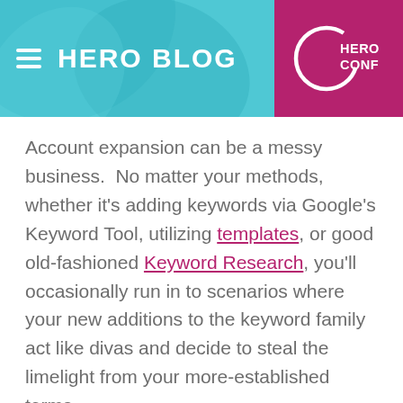HERO BLOG | HERO CONF
Account expansion can be a messy business.  No matter your methods, whether it's adding keywords via Google's Keyword Tool, utilizing templates, or good old-fashioned Keyword Research, you'll occasionally run in to scenarios where your new additions to the keyword family act like divas and decide to steal the limelight from your more-established terms.
This can be especially dangerous with established accounts, as the hope with